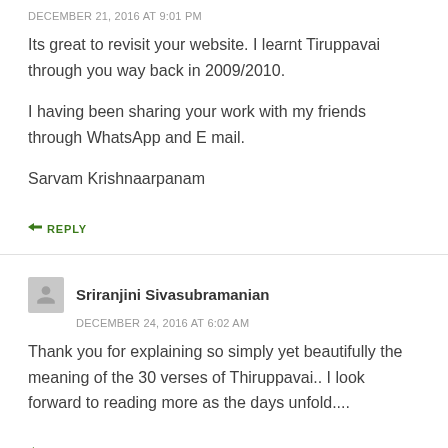DECEMBER 21, 2016 AT 9:01 PM
Its great to revisit your website. I learnt Tiruppavai through you way back in 2009/2010.

I having been sharing your work with my friends through WhatsApp and E mail.

Sarvam Krishnaarpanam
REPLY
Sriranjini Sivasubramanian
DECEMBER 24, 2016 AT 6:02 AM
Thank you for explaining so simply yet beautifully the meaning of the 30 verses of Thiruppavai.. I look forward to reading more as the days unfold....
REPLY